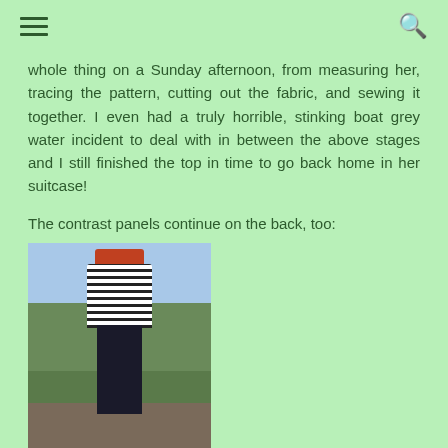≡  [menu icon]  [search icon]
whole thing on a Sunday afternoon, from measuring her, tracing the pattern, cutting out the fabric, and sewing it together. I even had a truly horrible, stinking boat grey water incident to deal with in between the above stages and I still finished the top in time to go back home in her suitcase!
The contrast panels continue on the back, too:
[Figure (photo): A woman with red hair seen from behind, wearing a black and white striped top and dark trousers, standing in an outdoor urban garden setting with buildings and greenery visible in the background.]